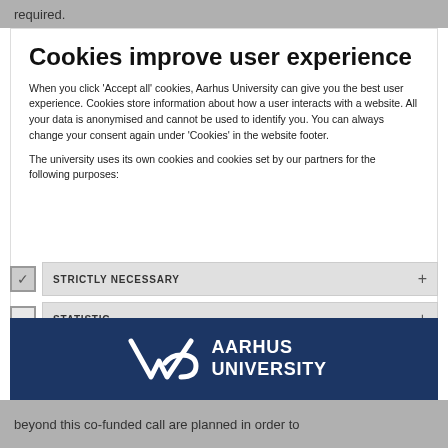required.
Cookies improve user experience
When you click 'Accept all' cookies, Aarhus University can give you the best user experience. Cookies store information about how a user interacts with a website. All your data is anonymised and cannot be used to identify you. You can always change your consent again under 'Cookies' in the website footer.
The university uses its own cookies and cookies set by our partners for the following purposes:
STRICTLY NECESSARY
STATISTIC
READ MORE ABOUT COOKIES
[Figure (logo): Aarhus University logo — white stylized 'AU' monogram on dark navy background with text AARHUS UNIVERSITY]
beyond this co-funded call are planned in order to